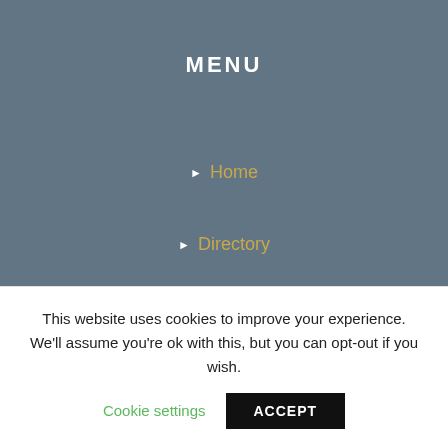MENU
Home
Directory
Useful Numbers & Links
[Figure (other): Language selector box with UK flag and EN text with chevron arrow]
RECENT BLOGS
This website uses cookies to improve your experience. We'll assume you're ok with this, but you can opt-out if you wish.
Cookie settings   ACCEPT